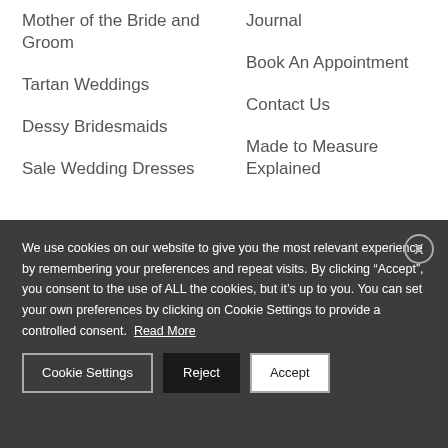Mother of the Bride and Groom
Journal
Tartan Weddings
Book An Appointment
Dessy Bridesmaids
Contact Us
Sale Wedding Dresses
Made to Measure Explained
We use cookies on our website to give you the most relevant experience by remembering your preferences and repeat visits. By clicking “Accept”, you consent to the use of ALL the cookies, but it's up to you. You can set your own preferences by clicking on Cookie Settings to provide a controlled consent. Read More